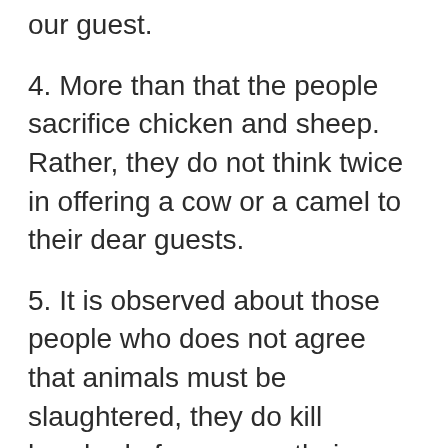our guest.
4. More than that the people sacrifice chicken and sheep. Rather, they do not think twice in offering a cow or a camel to their dear guests.
5. It is observed about those people who does not agree that animals must be slaughtered, they do kill hundred of germs on their wounds to save their lives. We can see beyond